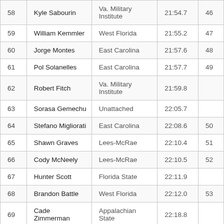|  | Name | School | Time | Place |
| --- | --- | --- | --- | --- |
| 58 | Kyle Sabourin | Va. Military Institute | 21:54.7 | 46 |
| 59 | William Kemmler | West Florida | 21:55.2 | 47 |
| 60 | Jorge Montes | East Carolina | 21:57.6 | 48 |
| 61 | Pol Solanelles | East Carolina | 21:57.7 | 49 |
| 62 | Robert Fitch | Va. Military Institute | 21:59.8 |  |
| 63 | Sorasa Gemechu | Unattached | 22:05.7 |  |
| 64 | Stefano Migliorati | East Carolina | 22:08.6 | 50 |
| 65 | Shawn Graves | Lees-McRae | 22:10.4 | 51 |
| 66 | Cody McNeely | Lees-McRae | 22:10.5 | 52 |
| 67 | Hunter Scott | Florida State | 22:11.9 |  |
| 68 | Brandon Battle | West Florida | 22:12.0 | 53 |
| 69 | Cade Zimmerman | Appalachian State | 22:18.8 |  |
| 70 | Ben O'Conner | Unattached | 22:20.4 |  |